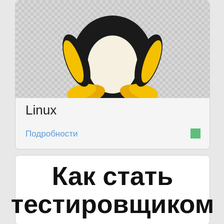[Figure (illustration): Tux the Linux penguin mascot (bottom portion visible with yellow feet/flippers) on a checkerboard transparent background]
Linux
Подробности
Как стать тестировщиком